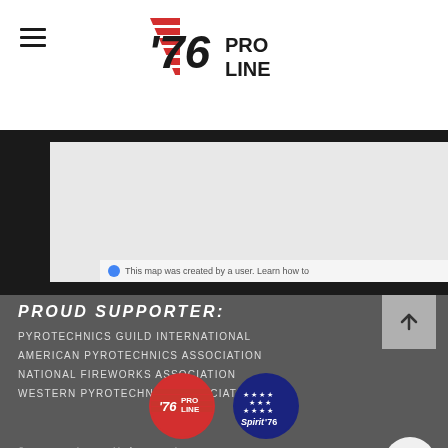[Figure (logo): '76 ProLine logo with red stripes and bold text]
[Figure (map): Embedded map area, partially cropped, with user-created map notice]
PROUD SUPPORTER:
PYROTECHNICS GUILD INTERNATIONAL
AMERICAN PYROTECHNICS ASSOCIATION
NATIONAL FIREWORKS ASSOCIATION
WESTERN PYROTECHNICS ASSOCIATION
[Figure (logo): '76 ProLine circular red logo]
[Figure (logo): Spirit of '76 circular blue logo]
©2022 '76 ProLine By Spirit of '76 LLC. Misso... All Rights Reserved